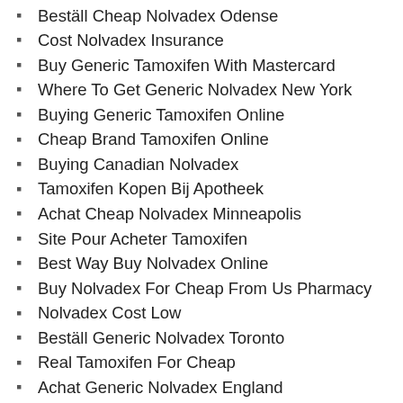Beställ Cheap Nolvadex Odense
Cost Nolvadex Insurance
Buy Generic Tamoxifen With Mastercard
Where To Get Generic Nolvadex New York
Buying Generic Tamoxifen Online
Cheap Brand Tamoxifen Online
Buying Canadian Nolvadex
Tamoxifen Kopen Bij Apotheek
Achat Cheap Nolvadex Minneapolis
Site Pour Acheter Tamoxifen
Best Way Buy Nolvadex Online
Buy Nolvadex For Cheap From Us Pharmacy
Nolvadex Cost Low
Beställ Generic Nolvadex Toronto
Real Tamoxifen For Cheap
Achat Generic Nolvadex England
Is Ordering Nolvadex Online Safe
Tamoxifen Cheap Online
Buy Nolvadex Online Confidential